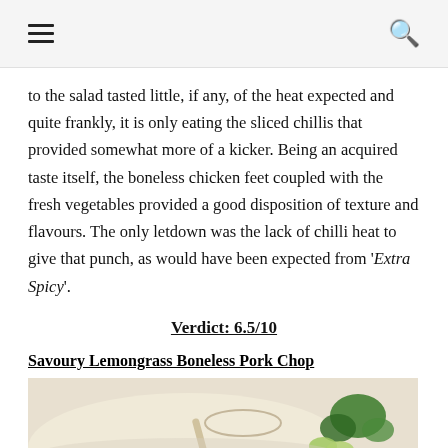☰  🔍
to the salad tasted little, if any, of the heat expected and quite frankly, it is only eating the sliced chillis that provided somewhat more of a kicker. Being an acquired taste itself, the boneless chicken feet coupled with the fresh vegetables provided a good disposition of texture and flavours. The only letdown was the lack of chilli heat to give that punch, as would have been expected from 'Extra Spicy'.
Verdict: 6.5/10
Savoury Lemongrass Boneless Pork Chop
[Figure (photo): A plate with a spoon, garnished with herbs and cucumber slices, creamy dish visible]